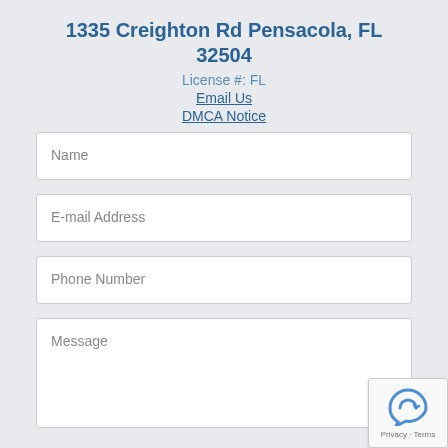1335 Creighton Rd Pensacola, FL 32504
License #: FL
Email Us
DMCA Notice
Name
E-mail Address
Phone Number
Message
[Figure (other): reCAPTCHA badge with arrow icon and Privacy - Terms text]